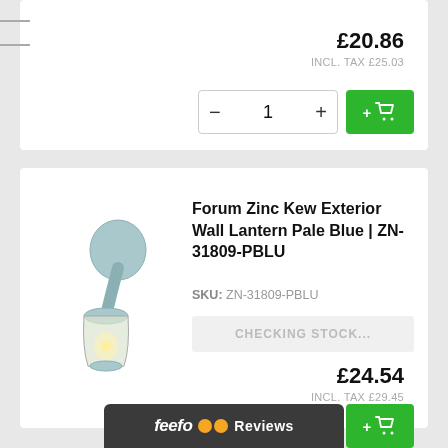£20.86
INCL. TAX £25.03
− 1 +
+ cart
[Figure (photo): Forum Zinc Kew Exterior Wall Lantern Pale Blue wall light product image]
Forum Zinc Kew Exterior Wall Lantern Pale Blue | ZN-31809-PBLU
SKU: ZN-31809-PBLU
CHECKING STOCK...
£24.54
INCL. TAX £29.45
− 1 +
+ cart
feefo Reviews